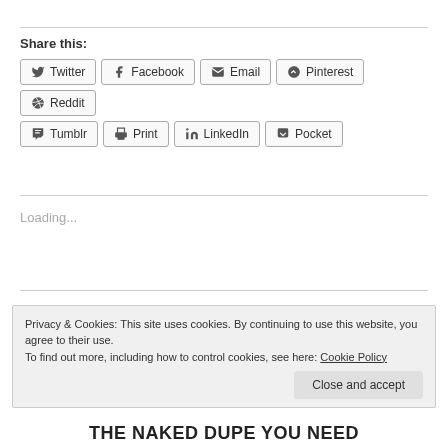Share this:
Twitter
Facebook
Email
Pinterest
Reddit
Tumblr
Print
LinkedIn
Pocket
Loading...
Privacy & Cookies: This site uses cookies. By continuing to use this website, you agree to their use. To find out more, including how to control cookies, see here: Cookie Policy
THE NAKED DUPE YOU NEED